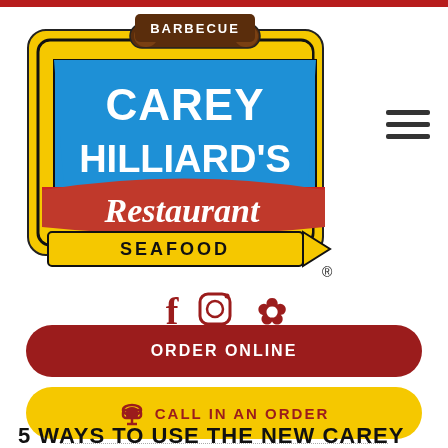[Figure (logo): Carey Hilliard's Restaurant Barbecue Seafood retro diner sign logo in yellow, blue, red, brown, and white colors with arrow pointing right and registered trademark symbol]
[Figure (infographic): Social media icons: Facebook (f), Instagram (camera), and Yelp (flower/asterisk) in dark red/maroon color]
ORDER ONLINE
CALL IN AN ORDER
5 WAYS TO USE THE NEW CAREY